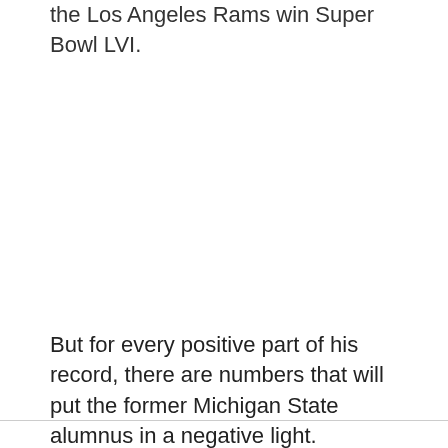the Los Angeles Rams win Super Bowl LVI.
But for every positive part of his record, there are numbers that will put the former Michigan State alumnus in a negative light.